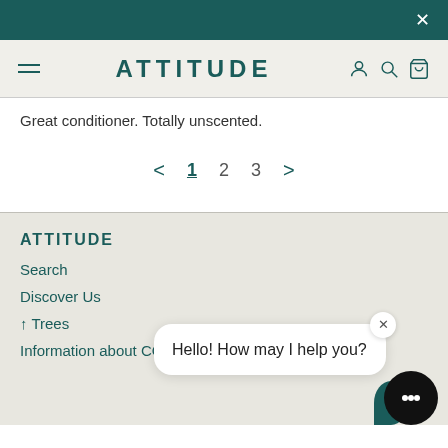X
[Figure (screenshot): ATTITUDE website navigation bar with hamburger menu, ATTITUDE logo, and icons for account, search, and cart]
Great conditioner. Totally unscented.
< 1 2 3 >
ATTITUDE
Search
Discover Us
↑ Trees
Information about COVID-19
Hello! How may I help you?